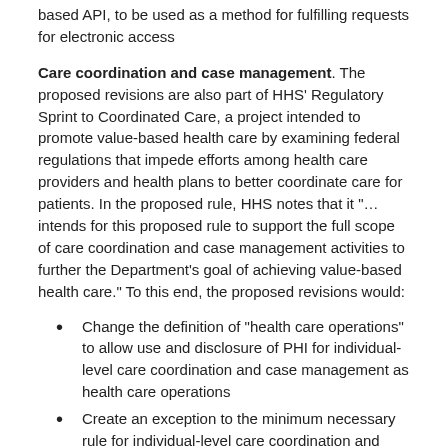based API, to be used as a method for fulfilling requests for electronic access
Care coordination and case management. The proposed revisions are also part of HHS’ Regulatory Sprint to Coordinated Care, a project intended to promote value-based health care by examining federal regulations that impede efforts among health care providers and health plans to better coordinate care for patients. In the proposed rule, HHS notes that it “… intends for this proposed rule to support the full scope of care coordination and case management activities to further the Department’s goal of achieving value-based health care.” To this end, the proposed revisions would:
Change the definition of “health care operations” to allow use and disclosure of PHI for individual-level care coordination and case management as health care operations
Create an exception to the minimum necessary rule for individual-level care coordination and case management uses and disclosures
Permit disclosure of PHI to social services agencies, community-based organizations, home and community